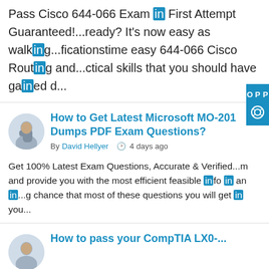Pass Cisco 644-066 Exam in First Attempt Guaranteed!...ready? It's now easy as walking...ficationstime easy 644-066 Cisco Routing and...ctical skills that you should have gained d...
How to Get Latest Microsoft MO-201 Dumps PDF Exam Questions?
By David Hellyer  4 days ago
Get 100% Latest Exam Questions, Accurate & Verified...m and provide you with the most efficient feasible info in an in...g chance that most of these questions you will get in you...
How to pass your CompTIA LX0-...